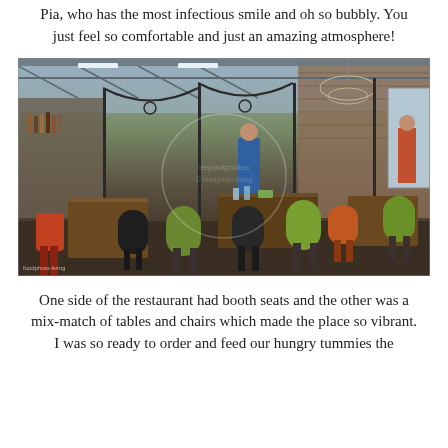Pia, who has the most infectious smile and oh so bubbly. You just feel so comfortable and just an amazing atmosphere!
[Figure (photo): Interior of a restaurant with colorful mix-match chairs (green, black, orange), wooden tables, ornate iron dividers/partitions, exposed brick walls, industrial ceiling with trusses and hanging chandeliers, bar area visible in background]
One side of the restaurant had booth seats and the other was a mix-match of tables and chairs which made the place so vibrant. I was so ready to order and feed our hungry tummies the